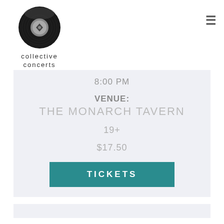[Figure (logo): Collective Concerts logo: vinyl record illustration with 'collective concerts' text below]
8:00 PM
VENUE:
THE MONARCH TAVERN
19+
$17.50
TICKETS